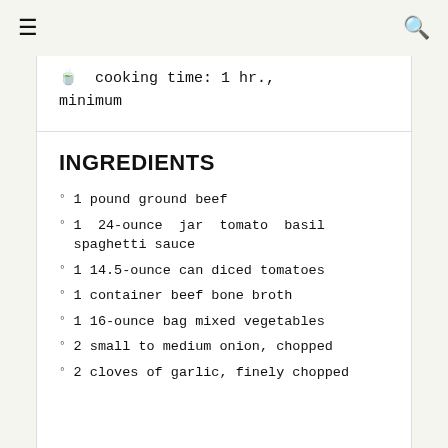☰  🔍
🍵  cooking time: 1 hr., minimum
INGREDIENTS
1 pound ground beef
1  24-ounce  jar  tomato  basil spaghetti sauce
1 14.5-ounce can diced tomatoes
1 container beef bone broth
1 16-ounce bag mixed vegetables
2 small to medium onion, chopped
2 cloves of garlic, finely chopped